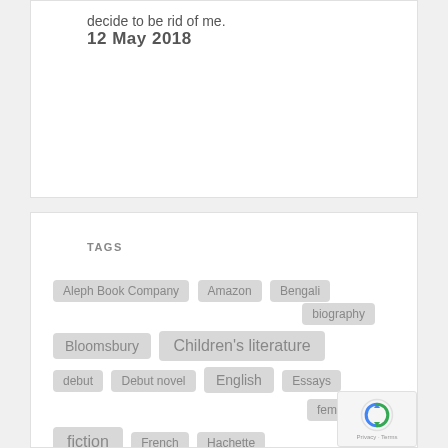decide to be rid of me.
12 May 2018
TAGS
Aleph Book Company
Amazon
Bengali
biography
Bloomsbury
Children's literature
debut
Debut novel
English
Essays
feminism
fiction
French
Hachette
Hachette India
HarperCollins
HarperCollins India
Hindi